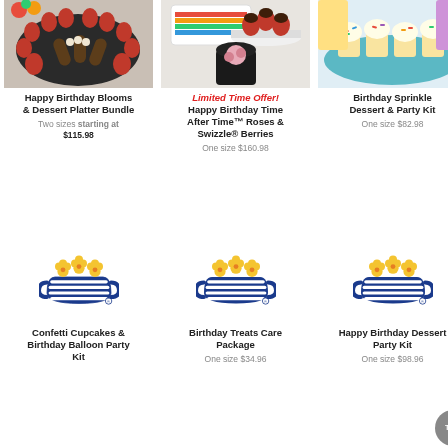[Figure (photo): Chocolate covered strawberries and desserts on a black platter]
Happy Birthday Blooms & Dessert Platter Bundle
Two sizes starting at $115.98
[Figure (photo): Chocolate dipped strawberries on a white stand with a pink rose box below, with rainbow candles card behind]
Limited Time Offer! Happy Birthday Time After Time™ Roses & Swizzle® Berries
One size $160.98
[Figure (photo): Birthday sprinkle cupcakes on a teal plate with birthday cards behind]
Birthday Sprinkle Dessert & Party Kit
One size $82.98
[Figure (logo): Company logo with blue crown and yellow flowers]
Confetti Cupcakes & Birthday Balloon Party Kit
[Figure (logo): Company logo with blue crown and yellow flowers]
Birthday Treats Care Package
One size $34.96
[Figure (logo): Company logo with blue crown and yellow flowers]
Happy Birthday Dessert Party Kit
One size $98.96